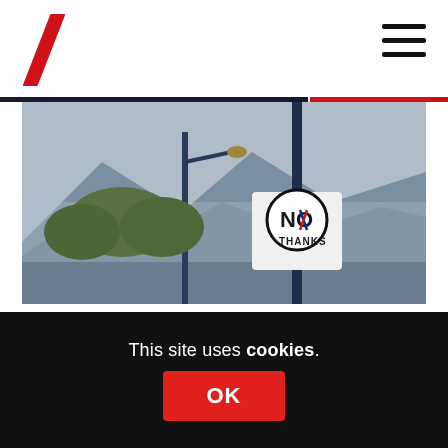[Figure (photo): A road sign post on a street with mountains and misty hills in the background. A 'No Thanks' campaign sign (Scottish independence referendum) is attached to the post — white circular logo with 'NO THANKS' text and Scottish flag X motif.]
The final programme dwells on the high drama of the independence campaign getting 'the Big Mo' behind it, pulling ahead in the polls, and the mass panic it induced in the British political establishment. It tells the
This site uses cookies.
OK